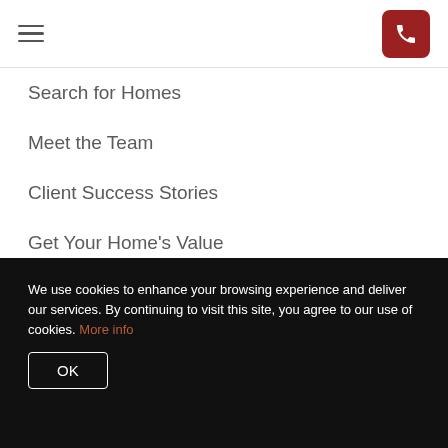Navigation header with hamburger menu and phone button
Search for Homes
Meet the Team
Client Success Stories
Get Your Home's Value
Read Our Blog
The Buyer Experience
We use cookies to enhance your browsing experience and deliver our services. By continuing to visit this site, you agree to our use of cookies. More info
OK